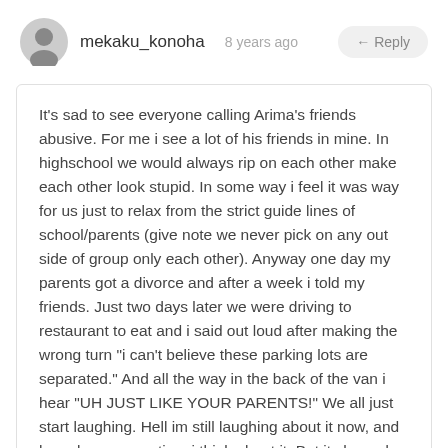mekaku_konoha  8 years ago  ← Reply
It's sad to see everyone calling Arima's friends abusive. For me i see a lot of his friends in mine. In highschool we would always rip on each other make each other look stupid. In some way i feel it was way for us just to relax from the strict guide lines of school/parents (give note we never pick on any out side of group only each other). Anyway one day my parents got a divorce and after a week i told my friends. Just two days later we were driving to restaurant to eat and i said out loud after making the wrong turn "i can't believe these parking lots are separated." And all the way in the back of the van i hear "UH JUST LIKE YOUR PARENTS!" We all just start laughing. Hell im still laughing about it now, and have been every time i think about it. But it showed me that its not the end of world and things will be different but i can still have a good time. and there are plenty of other times when my friends have "pushed" me to do things i